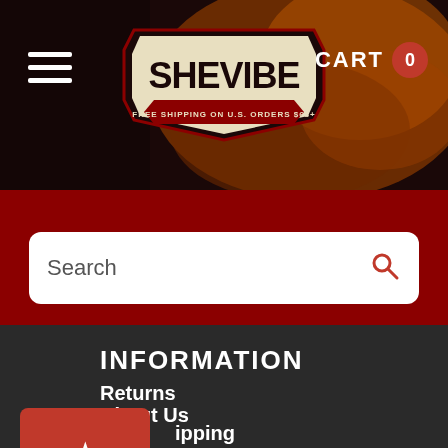[Figure (screenshot): SheVibe website header with logo, hamburger menu, cart button, search bar, and footer navigation links on dark/red background]
SHEVIBE — FREE SHIPPING ON U.S. ORDERS $68+
Search
INFORMATION
Returns
About Us
Shipping
Help